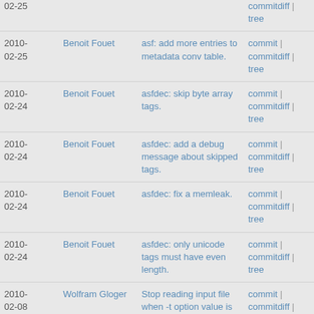| Date | Author | Message | Links |
| --- | --- | --- | --- |
| 02-25 |  |  | commitdiff | tree |
| 2010-02-25 | Benoit Fouet | asf: add more entries to metadata conv table. | commit | commitdiff | tree |
| 2010-02-24 | Benoit Fouet | asfdec: skip byte array tags. | commit | commitdiff | tree |
| 2010-02-24 | Benoit Fouet | asfdec: add a debug message about skipped tags. | commit | commitdiff | tree |
| 2010-02-24 | Benoit Fouet | asfdec: fix a memleak. | commit | commitdiff | tree |
| 2010-02-24 | Benoit Fouet | asfdec: only unicode tags must have even length. | commit | commitdiff | tree |
| 2010-02-08 | Wolfram Gloger | Stop reading input file when -t option value is reached. | commit | commitdiff | tree |
| 2010- | Rafaël Carré | Initialize thread_context[0] with | commit | |